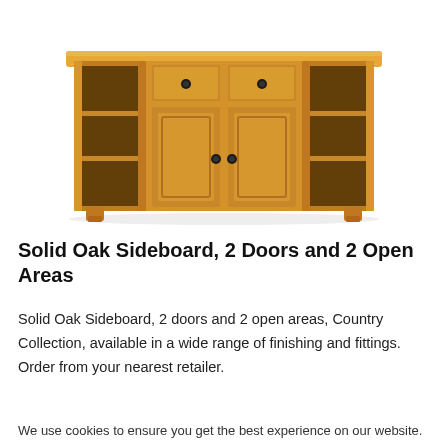[Figure (photo): A solid oak sideboard with 2 central doors, 2 drawers above the doors, and 2 open shelving areas on each side. Made of warm honey-toned oak wood with black metal handles.]
Solid Oak Sideboard, 2 Doors and 2 Open Areas
Solid Oak Sideboard, 2 doors and 2 open areas, Country Collection, available in a wide range of finishing and fittings. Order from your nearest retailer.
We use cookies to ensure you get the best experience on our website.